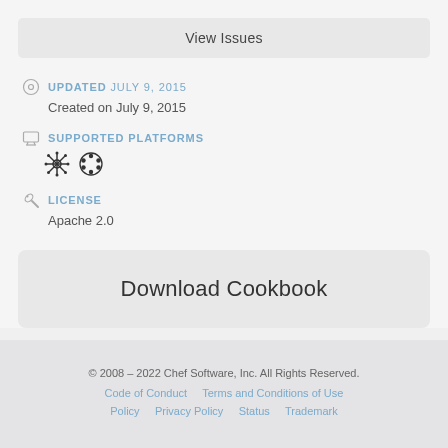View Issues
UPDATED JULY 9, 2015
Created on July 9, 2015
SUPPORTED PLATFORMS
[Figure (illustration): Two platform icons: a snowflake/asterisk style icon and an Ubuntu circle-of-friends icon]
LICENSE
Apache 2.0
Download Cookbook
© 2008 – 2022 Chef Software, Inc. All Rights Reserved.
Code of Conduct    Terms and Conditions of Use Policy    Privacy Policy    Status    Trademark